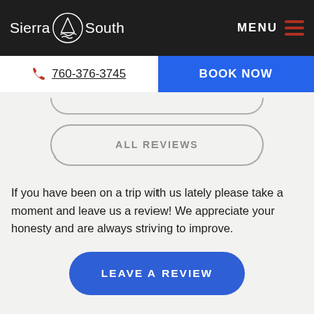Sierra South — MENU
760-376-3745   BOOK NOW
[Figure (screenshot): Partially visible rounded pill button at top of content area]
ALL REVIEWS
If you have been on a trip with us lately please take a moment and leave us a review! We appreciate your honesty and are always striving to improve.
LEAVE A REVIEW
Rafting Revie...